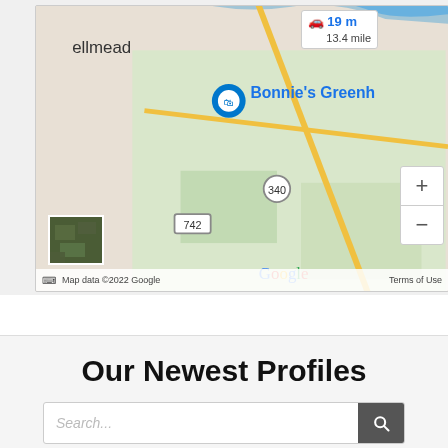[Figure (map): Google Maps view showing Bellmead area with roads 340 and 742, Bonnie's Greenhouse marker, distance overlay showing 19 min / 13.4 miles, zoom controls, satellite thumbnail, and map footer with Map data ©2022 Google Terms of Use]
Our Newest Profiles
Search...